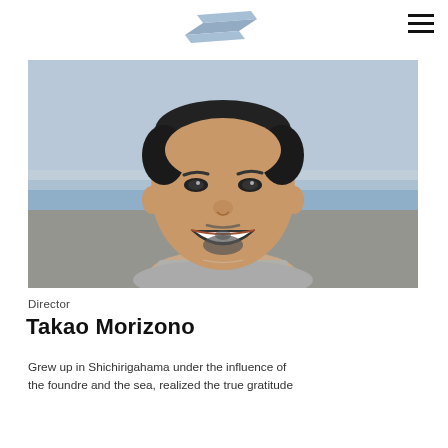Logo and navigation menu
[Figure (photo): Portrait photo of Takao Morizono, a smiling Japanese man with a goatee, wearing a grey sweater, photographed outdoors with a coastal background.]
Director
Takao Morizono
Grew up in Shichirigahama under the influence of the foundre and the sea, realized the true gratitude